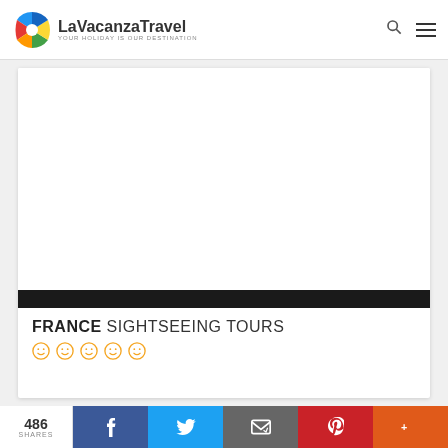LaVacanzaTravel — YOUR HOLIDAY IS OUR DESTINATION
[Figure (illustration): White blank area with dark black bar at bottom inside a card]
FRANCE SIGHTSEEING TOURS
486 SHARES | Facebook | Twitter | Email | Pinterest | Plus